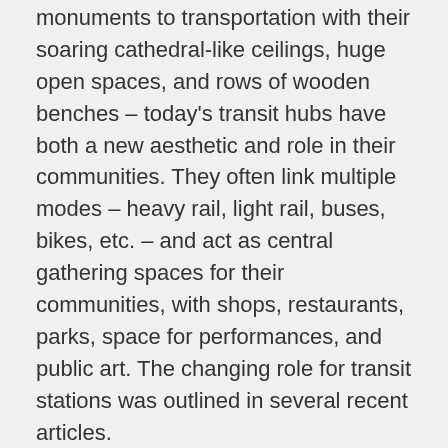monuments to transportation with their soaring cathedral-like ceilings, huge open spaces, and rows of wooden benches – today's transit hubs have both a new aesthetic and role in their communities. They often link multiple modes – heavy rail, light rail, buses, bikes, etc. – and act as central gathering spaces for their communities, with shops, restaurants, parks, space for performances, and public art. The changing role for transit stations was outlined in several recent articles.
Posted in News | Tagged Boston, Dallas, economic development, mixed-use, rail, station, TIF, TOD, transit, value capture
Walk this Way: The Economic Promise of Walkable Places in Metropolitan Washington